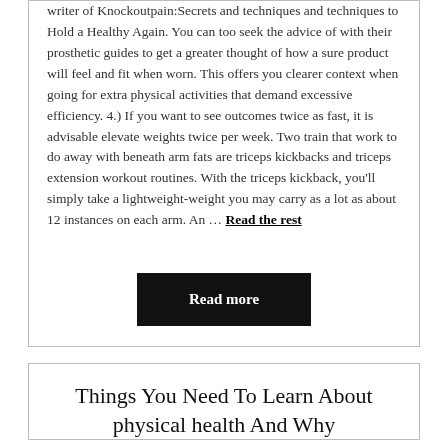writer of Knockoutpain:Secrets and techniques and techniques to Hold a Healthy Again. You can too seek the advice of with their prosthetic guides to get a greater thought of how a sure product will feel and fit when worn. This offers you clearer context when going for extra physical activities that demand excessive efficiency. 4.) If you want to see outcomes twice as fast, it is advisable elevate weights twice per week. Two train that work to do away with beneath arm fats are triceps kickbacks and triceps extension workout routines. With the triceps kickback, you'll simply take a lightweight-weight you may carry as a lot as about 12 instances on each arm. An … Read the rest
Read more
Things You Need To Learn About physical health And Why